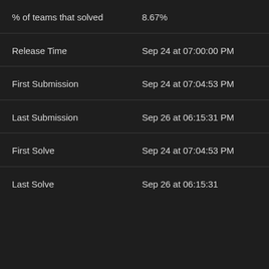| % of teams that solved | 8.67% |
| Release Time | Sep 24 at 07:00:00 PM |
| First Submission | Sep 24 at 07:04:53 PM |
| Last Submission | Sep 26 at 06:15:31 PM |
| First Solve | Sep 24 at 07:04:53 PM |
| Last Solve | Sep 26 at 06:15:31 |